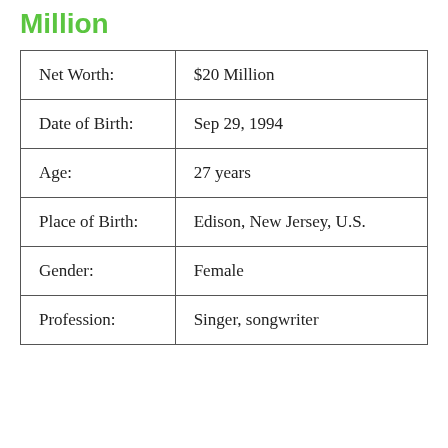Million
| Net Worth: | $20 Million |
| Date of Birth: | Sep 29, 1994 |
| Age: | 27 years |
| Place of Birth: | Edison, New Jersey, U.S. |
| Gender: | Female |
| Profession: | Singer, songwriter |